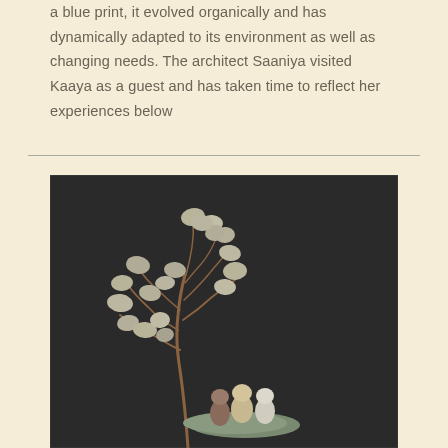a blue print, it evolved organically and has dynamically adapted to its environment as well as changing needs. The architect Saaniya visited Kaaya as a guest and has taken time to reflect her experiences below
[Figure (photo): A pebble art arrangement on a dark chalkboard background. A tree made from a thin twig branch with smooth rounded stones as leaves occupies the left side. Three stone figures (resembling people) sit on a large flat stone at the base of the tree, in the lower center of the image.]